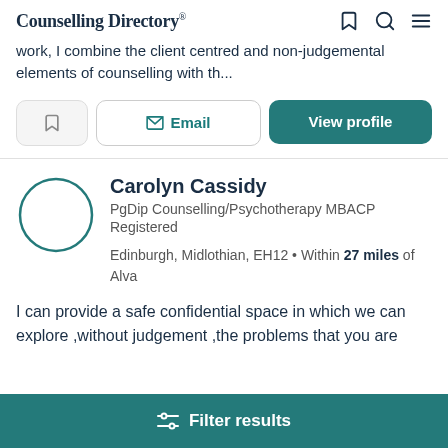Counselling Directory
work, I combine the client centred and non-judgemental elements of counselling with th...
Email | View profile
Carolyn Cassidy
PgDip Counselling/Psychotherapy MBACP Registered
Edinburgh, Midlothian, EH12 • Within 27 miles of Alva
I can provide a safe confidential space in which we can explore ,without judgement ,the problems that you are
Filter results